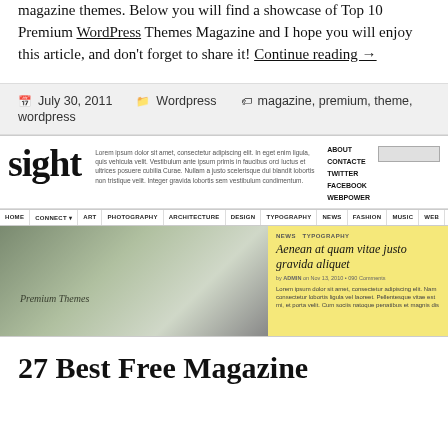magazine themes. Below you will find a showcase of Top 10 Premium WordPress Themes Magazine and I hope you will enjoy this article, and don't forget to share it! Continue reading →
July 30, 2011   Wordpress   magazine, premium, theme, wordpress
[Figure (screenshot): Screenshot of the 'Sight' WordPress magazine theme, showing the site header with logo, navigation menu (HOME, CONNECT, ART, PHOTOGRAPHY, ARCHITECTURE, DESIGN, TYPOGRAPHY, NEWS, FASHION, MUSIC, WEB), a featured image of stationery on the left, and a yellow sidebar article 'Aenean at quam vitae justo gravida aliquet' on the right.]
27 Best Free Magazine